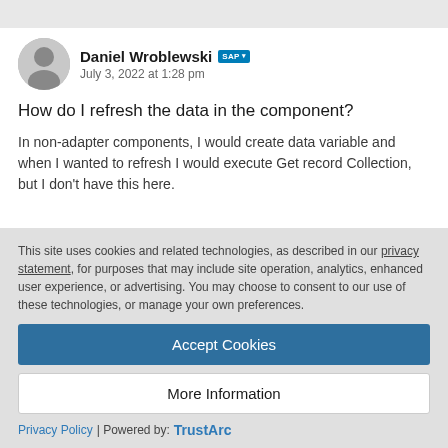[Figure (photo): Avatar photo of Daniel Wroblewski, a grayscale headshot of a middle-aged man]
Daniel Wroblewski SAP
July 3, 2022 at 1:28 pm
How do I refresh the data in the component?
In non-adapter components, I would create data variable and when I wanted to refresh I would execute Get record Collection, but I don't have this here.
This site uses cookies and related technologies, as described in our privacy statement, for purposes that may include site operation, analytics, enhanced user experience, or advertising. You may choose to consent to our use of these technologies, or manage your own preferences.
Accept Cookies
More Information
Privacy Policy | Powered by: TrustArc